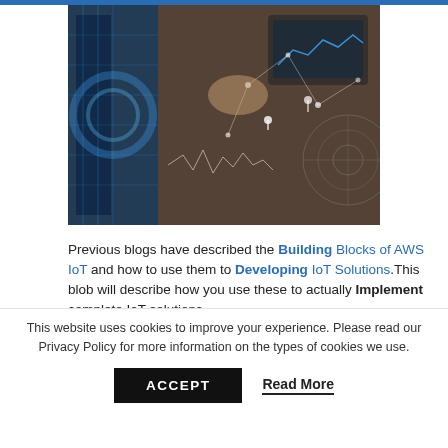[Figure (photo): Hero banner image showing IoT/technology theme: digital overlay graphics, data visualizations, a person working at a desk with a laptop, blue circuit-like graphics and connectivity lines on a dark background.]
Previous blogs have described the Building Blocks of AWS IoT and how to use them to Developing IoT Solutions. This blob will describe how you use these to actually Implement complete IoT solutions.
What is the big deal with implementing IoT Solutions –
This website uses cookies to improve your experience. Please read our Privacy Policy for more information on the types of cookies we use.
ACCEPT   Read More